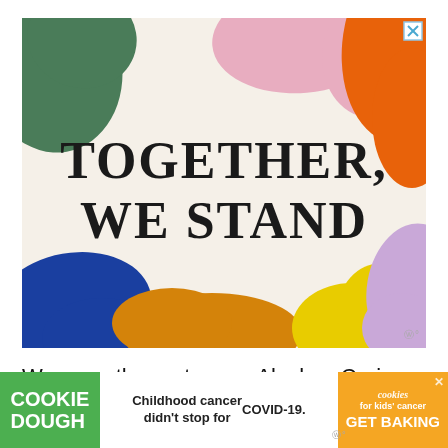[Figure (illustration): Advertisement banner with colorful abstract blob shapes (pink, green, orange, blue, yellow, purple) on a cream/beige background with bold serif text reading 'TOGETHER, WE STAND' in the center. A close button (X) is in the top right corner.]
We recently went on an Alaskan Cruise to Alaska's inside passage (round trip from Seattle) as guests of
[Figure (infographic): Cookie Dough / Childhood cancer cookies advertisement banner at the bottom of the page. Left side: green box with 'COOKIE DOUGH' text. Middle: white box with text 'Childhood cancer didn't stop for COVID-19.' Right side: orange box with cookies for kids cancer logo and 'GET BAKING' text.]